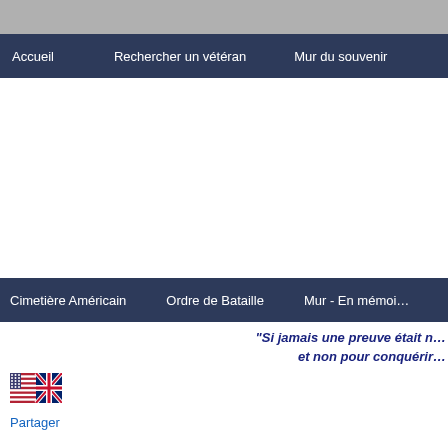Accueil | Rechercher un vétéran | Mur du souvenir
Cimetière Américain | Ordre de Bataille | Mur - En mémoire
"Si jamais une preuve était n... et non pour conquérir..."
[Figure (illustration): US and UK crossed flags icon]
Partager
LE CIMETIERE AMERICAIN DE NORMANDIE
LINDBERG VERNON